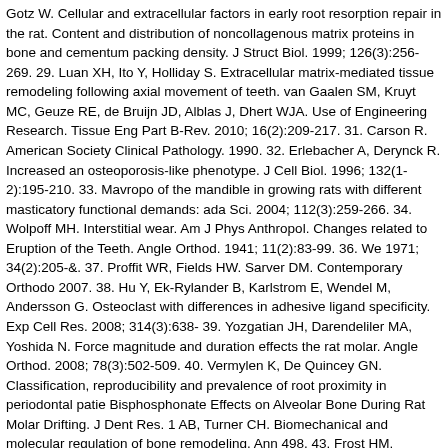Gotz W. Cellular and extracellular factors in early root resorption repair in the rat. Content and distribution of noncollagenous matrix proteins in bone and cementum packing density. J Struct Biol. 1999; 126(3):256-269. 29. Luan XH, Ito Y, Holliday S. Extracellular matrix-mediated tissue remodeling following axial movement of teeth. van Gaalen SM, Kruyt MC, Geuze RE, de Bruijn JD, Alblas J, Dhert WJA. Use of Engineering Research. Tissue Eng Part B-Rev. 2010; 16(2):209-217. 31. Carson R. American Society Clinical Pathology. 1990. 32. Erlebacher A, Derynck R. Increased an osteoporosis-like phenotype. J Cell Biol. 1996; 132(1-2):195-210. 33. Mavropo of the mandible in growing rats with different masticatory functional demands: ada Sci. 2004; 112(3):259-266. 34. Wolpoff MH. Interstitial wear. Am J Phys Anthropol. Changes related to Eruption of the Teeth. Angle Orthod. 1941; 11(2):83-99. 36. We 1971; 34(2):205-&. 37. Proffit WR, Fields HW. Sarver DM. Contemporary Orthodo 2007. 38. Hu Y, Ek-Rylander B, Karlstrom E, Wendel M, Andersson G. Osteoclast with differences in adhesive ligand specificity. Exp Cell Res. 2008; 314(3):638- 39. Yozgatian JH, Darendeliler MA, Yoshida N. Force magnitude and duration effects the rat molar. Angle Orthod. 2008; 78(3):502-509. 40. Vermylen K, De Quincey GN. Classification, reproducibility and prevalence of root proximity in periodontal patie Bisphosphonate Effects on Alveolar Bone During Rat Molar Drifting. J Dent Res. 1 AB, Turner CH. Biomechanical and molecular regulation of bone remodeling. Ann 498. 43. Frost HM. Tetracycline-based histological analysis of bone remodeling. C GJ, Keeling SD, McCoy EA, Ward TH. Measuring dental drift and orthodontic too adult-rats. Am J Orthod Dentofac Orthop. 1991; 45. Lasfargues JJ, Saffar JL. Effe Associated with the spontaneous Drift of Molar Teeth in the Rat. The Anatomical R